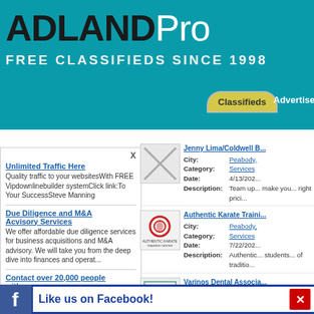[Figure (logo): ADLANDPro logo with teal background and tagline FREE CLASSIFIEDS SINCE 1998]
My Links
Classifieds | Advertise
X
Unlimited Traffic Here - Quality traffic to your websitesWith FREE Vipdownlinebuilder systemClick link:To Your SuccessSteve Manning
Due Diligence and M&A Acvisory Services - We offer affordable due diligence services for business acquisitions and M&A advisory. We will take you from the deep dive into finances and operat...
Contact over 20,000 people with one message - You receive 6,000 credits a month for sending Direct Contacts. Ta... allows you to s... ...personal
Jenny Lima/Coldwell B... City: Peabody, Category: Services Date: 4/13/202.. Description: Team up... make you... right prici...
Authentic Karate Traini... City: Peabody, Category: Services Date: 7/22/202.. Description: Authentic... students... of traditio...
Varinos Dental Associa... City: Peabody, Category: Services Date: 5/5/2022 Description: Varinos D... including... three con...
Professional Commerc... City: Peabody, Category: Services Date: 8/25/202...
Like us on Facebook!